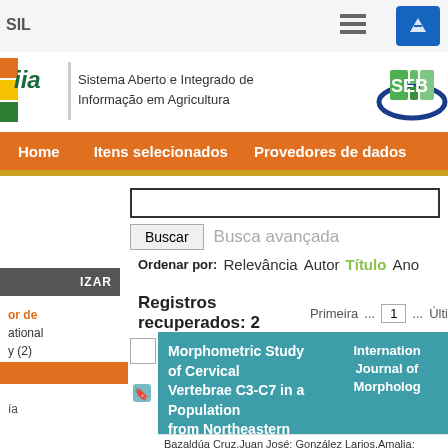[Figure (screenshot): Top navigation bar of a website with 'SIL' text, hamburger menu icon, and blue icon button on right]
[Figure (logo): SIIA logo with green italic text, vertical divider, description 'Sistema Aberto e Integrado de Informação em Agricultura', and SEB logo on right]
Home  Itens selecionados  Provedores de dados
Ordenar por:  Relevância  Autor  Título  Ano
Registros recuperados: 2   Primeira  ...  1  ...  Últi
Morphometric Study of Cervical Vertebrae C3-C7 in a Population from Northeastern Mexico
International Journal of Morpholog
Bazaldúa Cruz,Juan José; González Larios,Amalia; Gómez Sánchez,Arnulfo; Villarreal Silva,Eliud Enrique; Velázquez